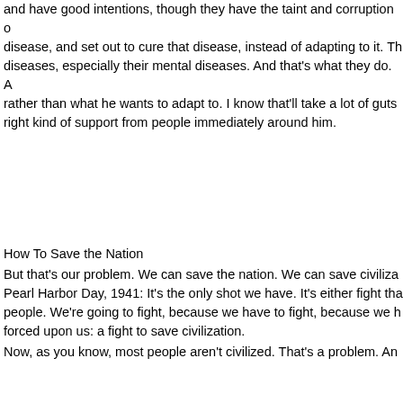and have good intentions, though they have the taint and corruption of disease, and set out to cure that disease, instead of adapting to it. Th diseases, especially their mental diseases. And that's what they do. A rather than what he wants to adapt to. I know that'll take a lot of guts right kind of support from people immediately around him.
How To Save the Nation
But that's our problem. We can save the nation. We can save civiliza Pearl Harbor Day, 1941: It's the only shot we have. It's either fight tha people. We're going to fight, because we have to fight, because we h forced upon us: a fight to save civilization.
Now, as you know, most people aren't civilized. That's a problem. An
The basic problem—that's why I'm turning to economics here, today, personal morality, which most people lack. They don't know what per between man and an ape. That's the problem.
Every species of animal has a general limitation on its population-de lives, or the animal species lives. But it has a limit. Man does not. If m several million individuals at any one time. We now have over 6 billio of growth, and improvement in condition of life of the average human beginning of the 15th Century, with the Golden Renaissance. And it